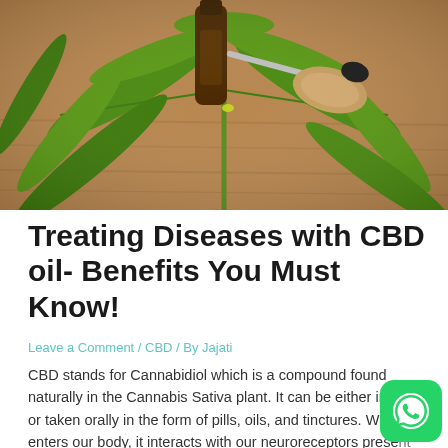[Figure (photo): Cannabis leaf with a brown dropper bottle containing CBD oil, placed on a wooden surface. The dropper cap is made of wood and has a rubber top.]
Treating Diseases with CBD oil- Benefits You Must Know!
Leave a Comment / CBD / By Jajati
CBD stands for Cannabidiol which is a compound found naturally in the Cannabis Sativa plant. It can be either inhaled or taken orally in the form of pills, oils, and tinctures. When it enters our body, it interacts with our neuroreceptors present